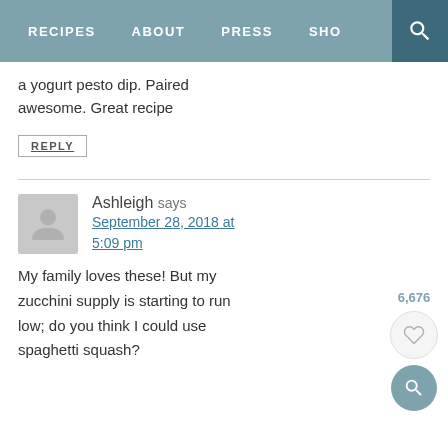RECIPES   ABOUT   PRESS   SHO[P]
a yogurt pesto dip. Paired awesome. Great recipe
REPLY
Ashleigh says
September 28, 2018 at 5:09 pm
My family loves these! But my zucchini supply is starting to run low; do you think I could use spaghetti squash?